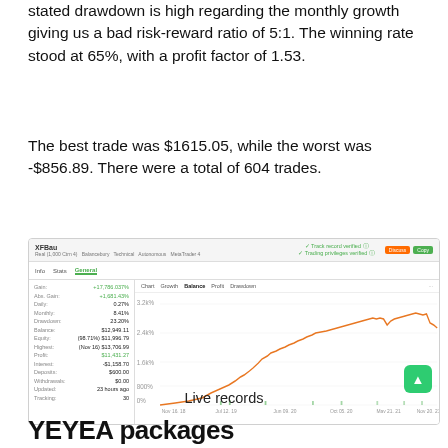stated drawdown is high regarding the monthly growth giving us a bad risk-reward ratio of 5:1. The winning rate stood at 65%, with a profit factor of 1.53.
The best trade was $1615.05, while the worst was -$856.89. There were a total of 604 trades.
[Figure (screenshot): Screenshot of XFBau live trading account on MyfxBook showing equity growth chart from Nov 2018 to Nov 2021, with stats including Daily 0.27%, Monthly 8.41%, Drawdown 23.20%, Balance $12,949.11, Equity $11,998.79, Highest $13,706.99, Profit $11,431.27, Interest -$1,158.70, Deposits $600, Withdrawals $0, Updated 23 hours ago, Tracking 30.]
Live records
YEYEA packages